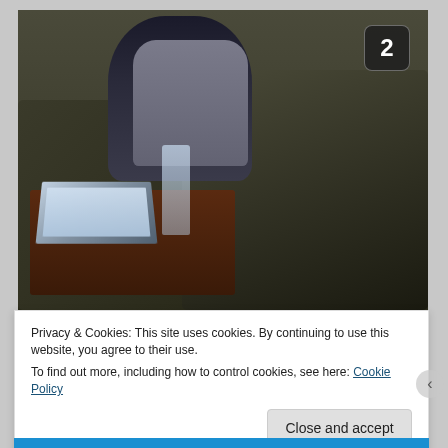[Figure (photo): A person sitting on a dark sofa/couch, viewed from behind, using a laptop computer on a coffee table. A water bottle is visible on the table. A number '2' badge appears in the top-right corner of the image.]
Privacy & Cookies: This site uses cookies. By continuing to use this website, you agree to their use.
To find out more, including how to control cookies, see here: Cookie Policy
Close and accept